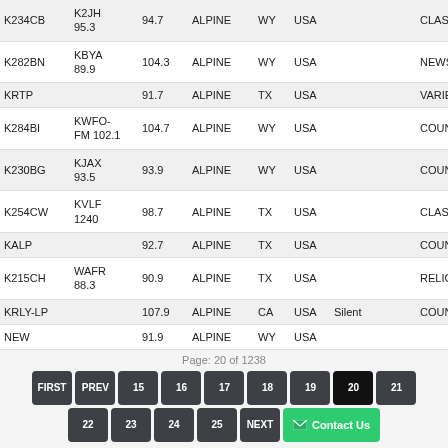| Call Sign | Parent | Freq | City | ST | Country | Status |  | Format |
| --- | --- | --- | --- | --- | --- | --- | --- | --- |
| K234CB | K2JH 95.3 | 94.7 | ALPINE | WY | USA |  |  | CLASSIC |
| K282BN | KBYA 89.9 | 104.3 | ALPINE | WY | USA |  |  | NEWS/TA |
| KRTP |  | 91.7 | ALPINE | TX | USA |  |  | VARIETY/ |
| K284BI | KWFO-FM 102.1 | 104.7 | ALPINE | WY | USA |  |  | COUNTRY |
| K230BG | KJAX 93.5 | 93.9 | ALPINE | WY | USA |  |  | COUNTRY |
| K254CW | KVLF 1240 | 98.7 | ALPINE | TX | USA |  |  | CLASSIC |
| KALP |  | 92.7 | ALPINE | TX | USA |  |  | COUNTRY |
| K215CH | WAFR 88.3 | 90.9 | ALPINE | TX | USA |  |  | RELIGIOU |
| KRLY-LP |  | 107.9 | ALPINE | CA | USA | Silent |  | COUNTRY |
| NEW |  | 91.9 | ALPINE | WY | USA |  |  |  |
Page: 20 of 1238